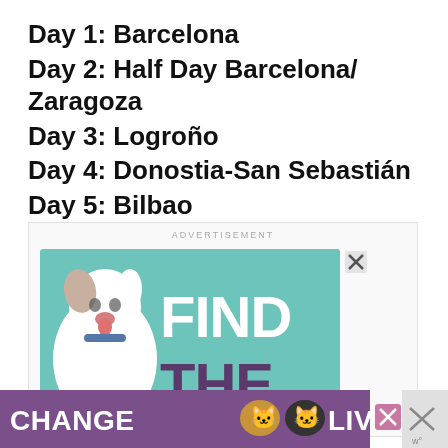Day 1: Barcelona
Day 2: Half Day Barcelona/Zaragoza
Day 3: Logroño
Day 4: Donostia-San Sebastián
Day 5: Bilbao
[Figure (illustration): Advertisement banner with a dog image and text reading FIND THE, teal/green background. Below is a purple banner reading CHANGE LIVES with cat images.]